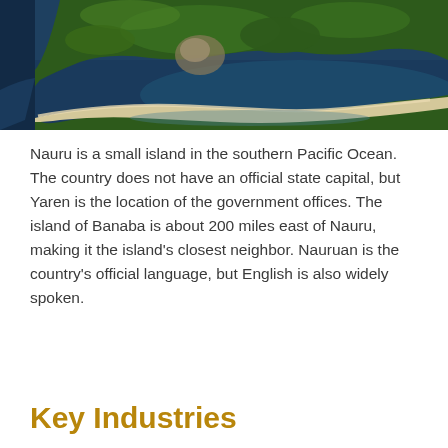[Figure (photo): Aerial satellite photograph of Nauru island showing the coastline, sandy beach fringe, coral reef, green vegetation interior, and dark blue ocean water.]
Nauru is a small island in the southern Pacific Ocean. The country does not have an official state capital, but Yaren is the location of the government offices. The island of Banaba is about 200 miles east of Nauru, making it the island's closest neighbor. Nauruan is the country's official language, but English is also widely spoken.
Key Industries